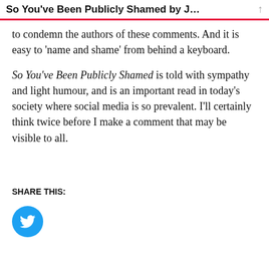So You've Been Publicly Shamed by J…
to condemn the authors of these comments.  And it is easy to 'name and shame' from behind a keyboard.
So You've Been Publicly Shamed is told with sympathy and light humour, and is an important read in today's society where social media is so prevalent.  I'll certainly think twice before I make a comment that may be visible to all.
SHARE THIS:
[Figure (logo): Twitter share button — circular blue button with white Twitter bird icon]